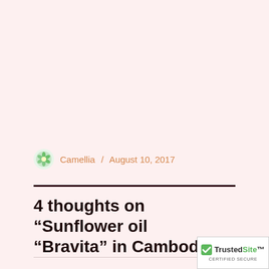Camellia / August 10, 2017
4 thoughts on “Sunflower oil “Bravita” in Cambodia”
[Figure (logo): TrustedSite Certified Secure badge in bottom right corner]